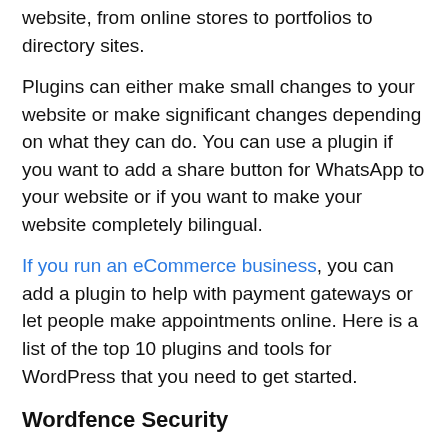website, from online stores to portfolios to directory sites.
Plugins can either make small changes to your website or make significant changes depending on what they can do. You can use a plugin if you want to add a share button for WhatsApp to your website or if you want to make your website completely bilingual.
If you run an eCommerce business, you can add a plugin to help with payment gateways or let people make appointments online. Here is a list of the top 10 plugins and tools for WordPress that you need to get started.
Wordfence Security
Did you know that WordPress is one of the most popular platforms among online business owners, but it is also the most hacked? You may take defensive measures to reduce the danger of an attack and dissuade attackers from targeting your WordPress blog. Here, WordPress...